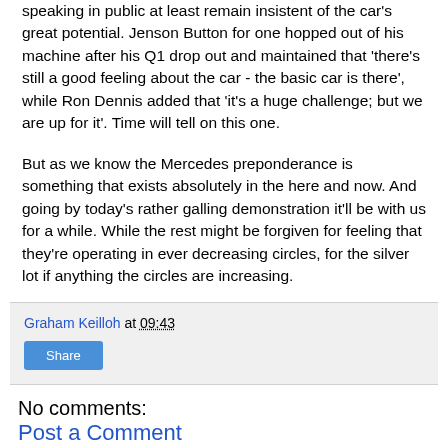speaking in public at least remain insistent of the car's great potential. Jenson Button for one hopped out of his machine after his Q1 drop out and maintained that 'there's still a good feeling about the car - the basic car is there', while Ron Dennis added that 'it's a huge challenge; but we are up for it'. Time will tell on this one.
But as we know the Mercedes preponderance is something that exists absolutely in the here and now. And going by today's rather galling demonstration it'll be with us for a while. While the rest might be forgiven for feeling that they're operating in ever decreasing circles, for the silver lot if anything the circles are increasing.
Graham Keilloh at 09:43
Share
No comments:
Post a Comment